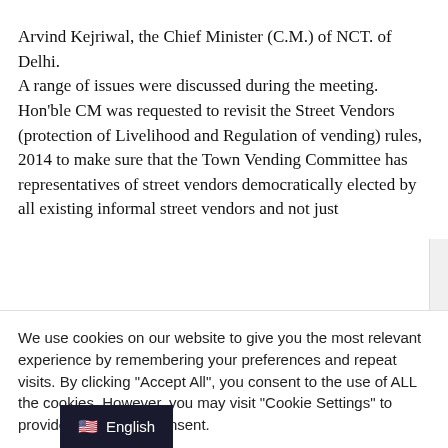Arvind Kejriwal, the Chief Minister (C.M.) of NCT. of Delhi. A range of issues were discussed during the meeting. Hon'ble CM was requested to revisit the Street Vendors (protection of Livelihood and Regulation of vending) rules, 2014 to make sure that the Town Vending Committee has representatives of street vendors democratically elected by all existing informal street vendors and not just
We use cookies on our website to give you the most relevant experience by remembering your preferences and repeat visits. By clicking "Accept All", you consent to the use of ALL the cookies. However, you may visit "Cookie Settings" to provide a controlled consent.